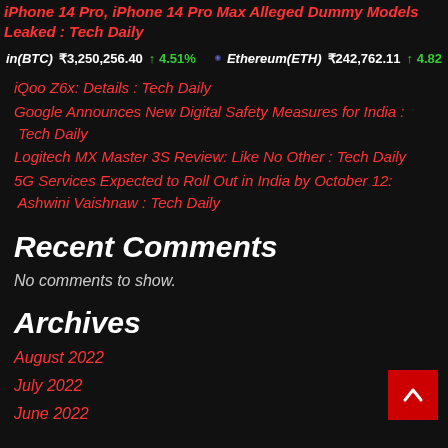iPhone 14 Pro, iPhone 14 Pro Max Alleged Dummy Models Leaked : Tech Daily
in(BTC)  ₹3,250,256.40  ↑ 4.51%    Ethereum(ETH)  ₹242,762.11  ↑ 4.82
iQoo Z6x: Details : Tech Daily
Google Announces New Digital Safety Measures for India : Tech Daily
Logitech MX Master 3S Review: Like No Other : Tech Daily
5G Services Expected to Roll Out in India by October 12: Ashwini Vaishnaw : Tech Daily
Recent Comments
No comments to show.
Archives
August 2022
July 2022
June 2022